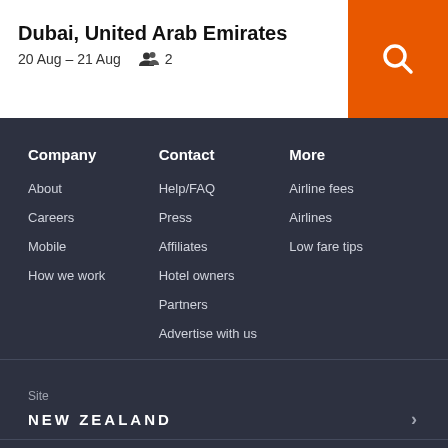Dubai, United Arab Emirates
20 Aug – 21 Aug    2
Company
About
Careers
Mobile
How we work
Contact
Help/FAQ
Press
Affiliates
Hotel owners
Partners
Advertise with us
More
Airline fees
Airlines
Low fare tips
Site
NEW ZEALAND